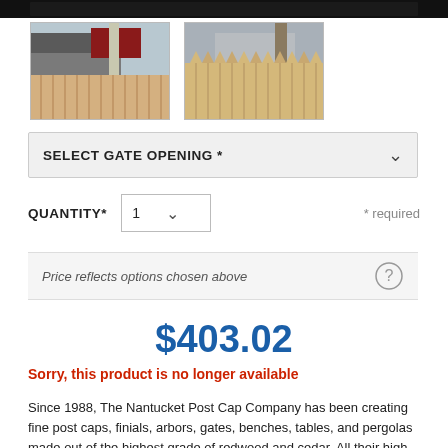[Figure (photo): Dark top strip cropped photo of fence/trees]
[Figure (photo): Thumbnail photo of wooden fence installed near a house with trees]
[Figure (photo): Thumbnail photo of close-up wooden fence pickets]
SELECT GATE OPENING *
QUANTITY*  1  * required
Price reflects options chosen above
$403.02
Sorry, this product is no longer available
Since 1988, The Nantucket Post Cap Company has been creating fine post caps, finials, arbors, gates, benches, tables, and pergolas made out of the highest grade of redwood and cedar. All their high quality Western